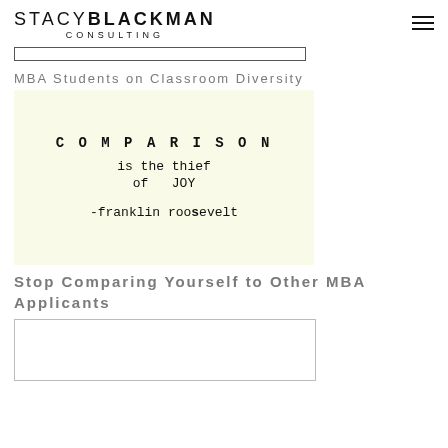STACY BLACKMAN CONSULTING
[Figure (other): Search bar input field]
MBA Students on Classroom Diversity
[Figure (illustration): Typewriter-style quote on cream background: COMPARISON is the thief of JOY -franklin roosevelt]
Stop Comparing Yourself to Other MBA Applicants
[Figure (other): Article preview image placeholder]